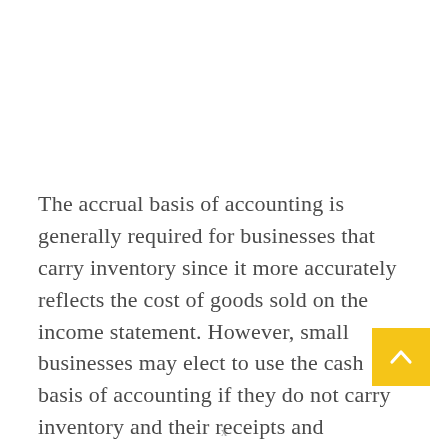The accrual basis of accounting is generally required for businesses that carry inventory since it more accurately reflects the cost of goods sold on the income statement. However, small businesses may elect to use the cash basis of accounting if they do not carry inventory and their receipts and payments are relatively simple to track.